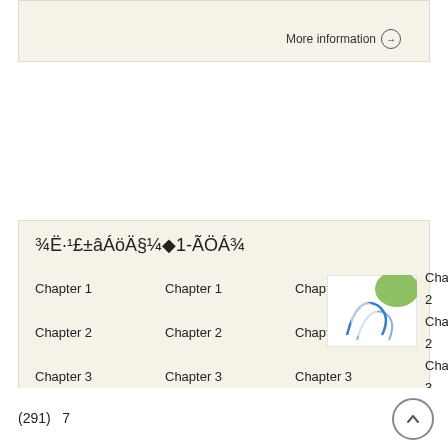More information →
¾Ë·¹£±âÁöÄ§¼◆1-ÃÖÁ¾
Chapter 1  Chapter 1  Chapter 1  Chapter 2
Chapter 2  Chapter 2  Chapter 2  Chapter 2
Chapter 3  Chapter 3  Chapter 3  Chapter 3
Chapter 3  Chapter 3  Chapter 3  Chapter 3
Chapter 4  Chapter 4
[Figure (illustration): Small thumbnail image showing a medical/anatomical illustration with green and blue elements on white background]
More information →
(291)  7